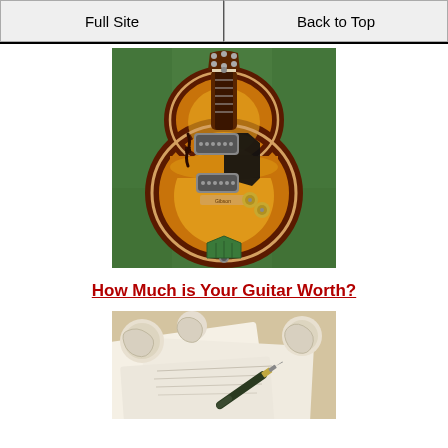Full Site | Back to Top
[Figure (photo): Sunburst hollow-body electric guitar (archtop style) lying on green grass, viewed from above. The guitar has f-holes, a pickguard, two pickups, control knobs, and a tailpiece.]
How Much is Your Guitar Worth?
[Figure (photo): Close-up of crumpled paper documents and a pen on a desk, suggesting paperwork or appraisal forms.]